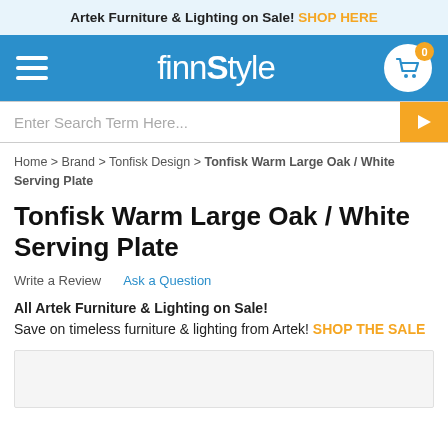Artek Furniture & Lighting on Sale! SHOP HERE
[Figure (logo): FinnStyle website navigation header with hamburger menu, finnStyle logo in white on blue background, and shopping cart icon with 0 badge]
Enter Search Term Here...
Home > Brand > Tonfisk Design > Tonfisk Warm Large Oak / White Serving Plate
Tonfisk Warm Large Oak / White Serving Plate
Write a Review   Ask a Question
All Artek Furniture & Lighting on Sale! Save on timeless furniture & lighting from Artek! SHOP THE SALE
[Figure (photo): Product image placeholder area (light gray)]